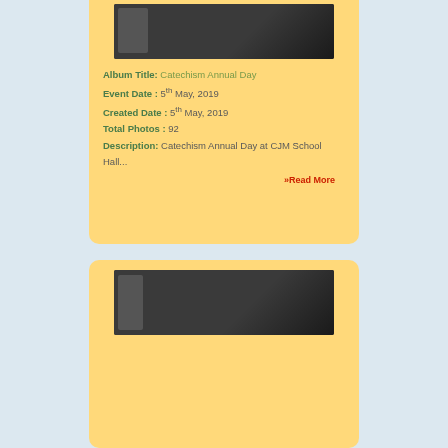[Figure (photo): Dark photo thumbnail at top of first album card]
Album Title: Catechism Annual Day
Event Date : 5th May, 2019
Created Date : 5th May, 2019
Total Photos : 92
Description: Catechism Annual Day at CJM School Hall...
»Read More
[Figure (photo): Dark photo thumbnail at top of second album card]